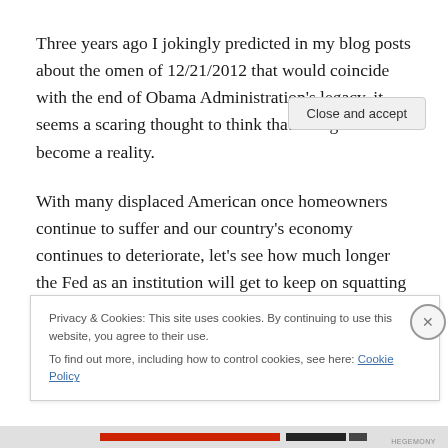Three years ago I jokingly predicted in my blog posts about the omen of 12/21/2012 that would coincide with the end of Obama Administration's legacy, it seems a scaring thought to think that it might indeed become a reality.
With many displaced American once homeowners continue to suffer and our country's economy continues to deteriorate, let's see how much longer the Fed as an institution will get to keep on squatting on the important
Privacy & Cookies: This site uses cookies. By continuing to use this website, you agree to their use.
To find out more, including how to control cookies, see here: Cookie Policy
Close and accept